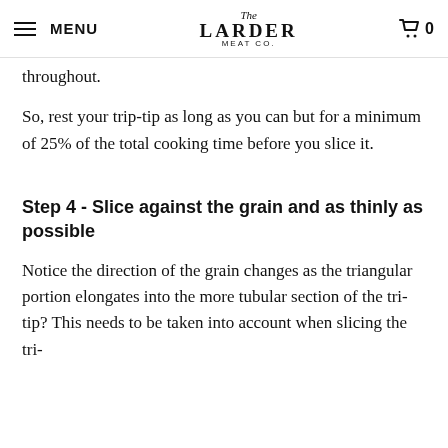MENU | The Larder Meat Co. | 0
dis... and long m...sterlations run for... throughout.
So, rest your trip-tip as long as you can but for a minimum of 25% of the total cooking time before you slice it.
Step 4 - Slice against the grain and as thinly as possible
Notice the direction of the grain changes as the triangular portion elongates into the more tubular section of the tri-tip? This needs to be taken into account when slicing the tri-